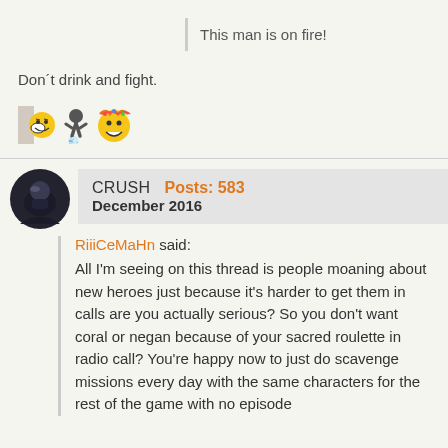This man is on fire!
Don´t drink and fight.
[Figure (illustration): Three emoji icons: a laughing face, a person running/pointing, and a party/crazy face]
CRUSH   Posts: 583
December 2016
RiiiCeMaHn said:
All I'm seeing on this thread is people moaning about new heroes just because it's harder to get them in calls are you actually serious? So you don't want coral or negan because of your sacred roulette in radio call? You're happy now to just do scavenge missions every day with the same characters for the rest of the game with no episode 7 missions...? Cut us off...